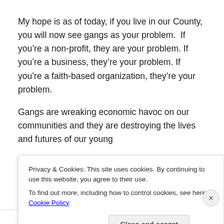My hope is as of today, if you live in our County, you will now see gangs as your problem.  If you're a non-profit, they are your problem. If you're a business, they're your problem. If you're a faith-based organization, they're your problem.
Gangs are wreaking economic havoc on our communities and they are destroying the lives and futures of our young
Privacy & Cookies: This site uses cookies. By continuing to use this website, you agree to their use.
To find out more, including how to control cookies, see here: Cookie Policy
Close and accept